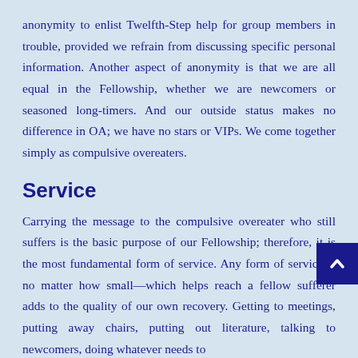anonymity to enlist Twelfth-Step help for group members in trouble, provided we refrain from discussing specific personal information. Another aspect of anonymity is that we are all equal in the Fellowship, whether we are newcomers or seasoned long-timers. And our outside status makes no difference in OA; we have no stars or VIPs. We come together simply as compulsive overeaters.
Service
Carrying the message to the compulsive overeater who still suffers is the basic purpose of our Fellowship; therefore, it is the most fundamental form of service. Any form of service—no matter how small—which helps reach a fellow sufferer adds to the quality of our own recovery. Getting to meetings, putting away chairs, putting out literature, talking to newcomers, doing whatever needs to